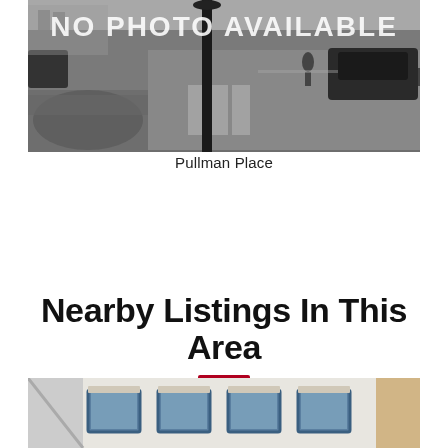[Figure (photo): Black and white street scene photo with 'NO PHOTO AVAILABLE' text overlay. Shows a city street with cars, a lamp post, crosswalk, and vegetation. Grayscale image.]
Pullman Place
Nearby Listings In This Area
[Figure (photo): Partial color photo of a building exterior showing white facade with blue-framed windows, appears to be a commercial or residential building.]